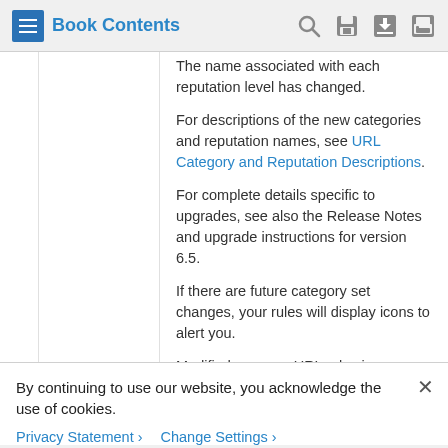Book Contents
The name associated with each reputation level has changed.
For descriptions of the new categories and reputation names, see URL Category and Reputation Descriptions.
For complete details specific to upgrades, see also the Release Notes and upgrade instructions for version 6.5.
If there are future category set changes, your rules will display icons to alert you.
Modified screens: URL rules in
By continuing to use our website, you acknowledge the use of cookies.
Privacy Statement > Change Settings >